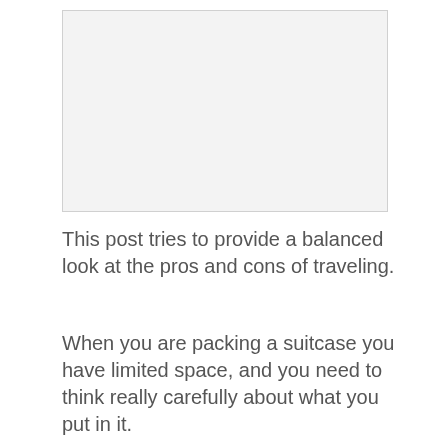[Figure (other): A light gray rectangular placeholder image area]
This post tries to provide a balanced look at the pros and cons of traveling.
When you are packing a suitcase you have limited space, and you need to think really carefully about what you put in it.